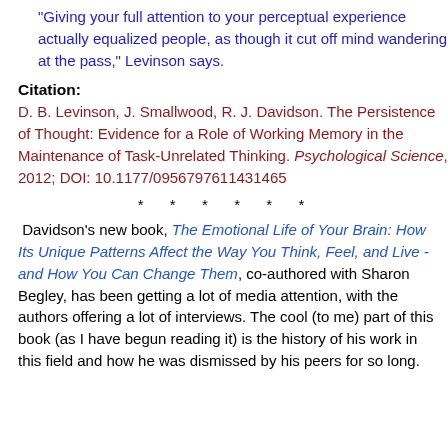"Giving your full attention to your perceptual experience actually equalized people, as though it cut off mind wandering at the pass," Levinson says.
Citation:
D. B. Levinson, J. Smallwood, R. J. Davidson. The Persistence of Thought: Evidence for a Role of Working Memory in the Maintenance of Task-Unrelated Thinking. Psychological Science, 2012; DOI: 10.1177/0956797611431465
* * * * * *
Davidson's new book, The Emotional Life of Your Brain: How Its Unique Patterns Affect the Way You Think, Feel, and Live - and How You Can Change Them, co-authored with Sharon Begley, has been getting a lot of media attention, with the authors offering a lot of interviews. The cool (to me) part of this book (as I have begun reading it) is the history of his work in this field and how he was dismissed by his peers for so long.